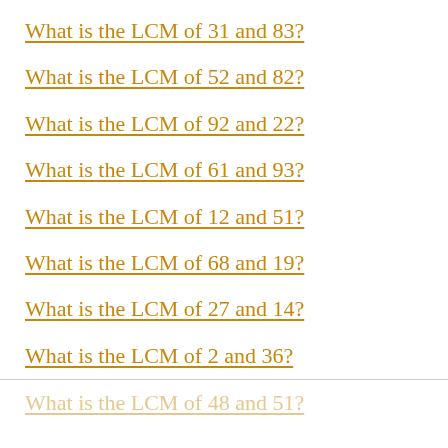What is the LCM of 31 and 83?
What is the LCM of 52 and 82?
What is the LCM of 92 and 22?
What is the LCM of 61 and 93?
What is the LCM of 12 and 51?
What is the LCM of 68 and 19?
What is the LCM of 27 and 14?
What is the LCM of 2 and 36?
What is the LCM of 48 and 51?